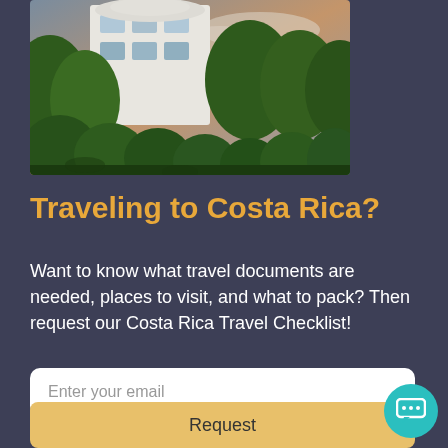[Figure (photo): Photograph of a white multi-story building with curved balconies surrounded by lush green trees and hedges, against a cloudy sunset sky.]
Traveling to Costa Rica?
Want to know what travel documents are needed, places to visit, and what to pack? Then request our Costa Rica Travel Checklist!
Enter your email
Request